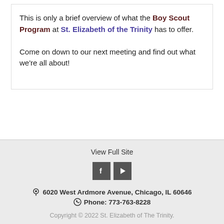This is only a brief overview of what the Boy Scout Program at St. Elizabeth of the Trinity has to offer.

Come on down to our next meeting and find out what we're all about!
View Full Site
6020 West Ardmore Avenue, Chicago, IL 60646
Phone: 773-763-8228
Copyright © 2022 St. Elizabeth of The Trinity.